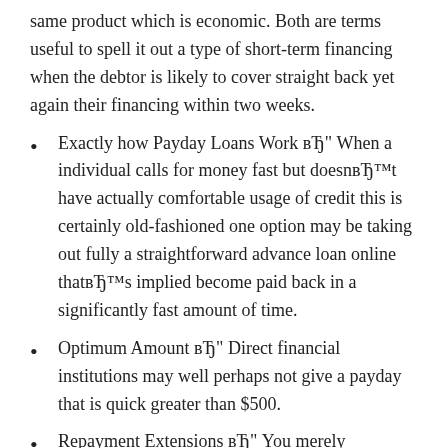same product which is economic. Both are terms useful to spell it out a type of short-term financing when the debtor is likely to cover straight back yet again their financing within two weeks.
Exactly how Payday Loans Work вЂ" When a individual calls for money fast but doesnвЂ™t have actually comfortable usage of credit this is certainly old-fashioned one option may be taking out fully a straightforward advance loan online thatвЂ™s implied become paid back in a significantly fast amount of time.
Optimum Amount вЂ" Direct financial institutions may well perhaps not give a payday that is quick greater than $500.
Repayment Extensions вЂ" You merely canвЂ™t restore your loan. In case which you take to to simply simply take another loan out within 13 times